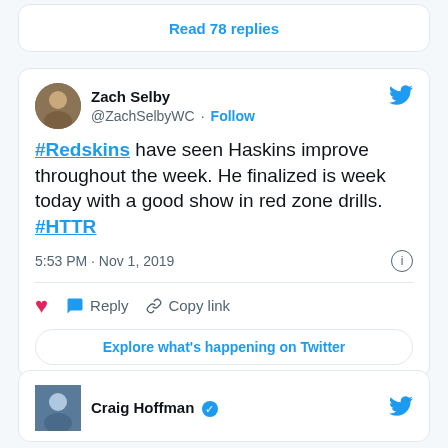Read 78 replies
Zach Selby @ZachSelbyWC · Follow
#Redskins have seen Haskins improve throughout the week. He finalized is week today with a good show in red zone drills. #HTTR
5:53 PM · Nov 1, 2019
Reply  Copy link
Explore what's happening on Twitter
Craig Hoffman